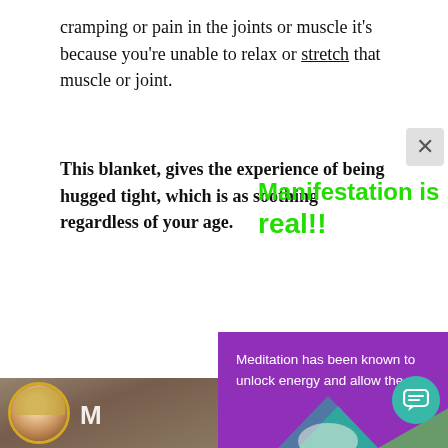cramping or pain in the joints or muscle it's because you're unable to relax or stretch that muscle or joint.
This blanket, gives the experience of being hugged tight, which is as soothing regardless of your age.
[Figure (other): Green text overlay reading 'Manifestation is real!!' overlapping the bold article text]
[Figure (screenshot): Purple popup advertisement with white text: 'Meditation has been known to unlock energy and allow the faithful practitioner access...' and a green 'LEARN MORE' button. A circular avatar of a woman with curly hair is visible at the left. A teal chat bubble icon is in the lower right. Geometric teal and green shapes appear at the bottom.]